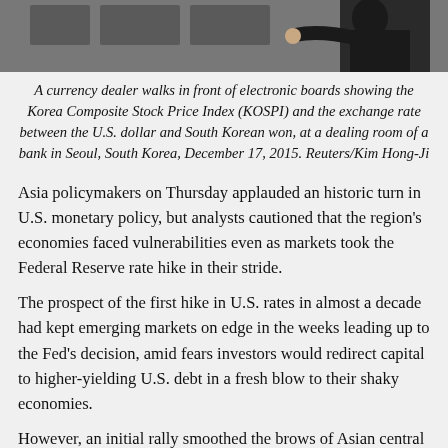[Figure (photo): A currency dealer walks in front of electronic boards in a bank dealing room in Seoul, South Korea. Partial view showing a person in dark clothing.]
A currency dealer walks in front of electronic boards showing the Korea Composite Stock Price Index (KOSPI) and the exchange rate between the U.S. dollar and South Korean won, at a dealing room of a bank in Seoul, South Korea, December 17, 2015. Reuters/Kim Hong-Ji
Asia policymakers on Thursday applauded an historic turn in U.S. monetary policy, but analysts cautioned that the region's economies faced vulnerabilities even as markets took the Federal Reserve rate hike in their stride.
The prospect of the first hike in U.S. rates in almost a decade had kept emerging markets on edge in the weeks leading up to the Fed's decision, amid fears investors would redirect capital to higher-yielding U.S. debt in a fresh blow to their shaky economies.
However, an initial rally smoothed the brows of Asian central bankers who were the first to respond to the hike as U.S. policymakers sought to end an era of ultra-low